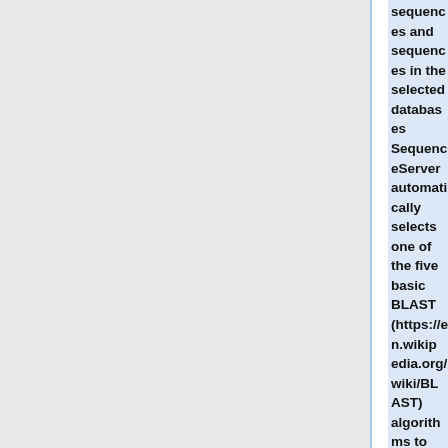sequences and sequences in the selected databases SequenceServer automatically selects one of the five basic BLAST (https://en.wikipedia.org/wiki/BLAST) algorithms to use. However, depending on characteristics of query and database sequences (e.g., size, error profile, evolutionary distance) other